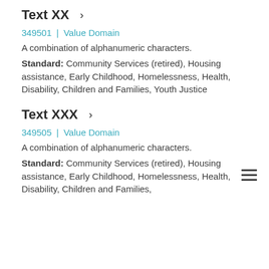Text XX ›
349501 | Value Domain
A combination of alphanumeric characters.
Standard: Community Services (retired), Housing assistance, Early Childhood, Homelessness, Health, Disability, Children and Families, Youth Justice
Text XXX ›
349505 | Value Domain
A combination of alphanumeric characters.
Standard: Community Services (retired), Housing assistance, Early Childhood, Homelessness, Health, Disability, Children and Families,